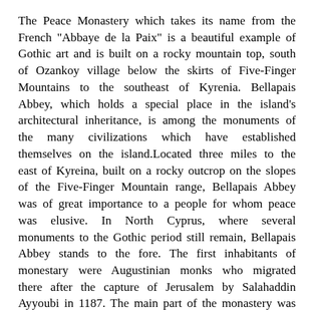The Peace Monastery which takes its name from the French "Abbaye de la Paix" is a beautiful example of Gothic art and is built on a rocky mountain top, south of Ozankoy village below the skirts of Five-Finger Mountains to the southeast of Kyrenia. Bellapais Abbey, which holds a special place in the island's architectural inheritance, is among the monuments of the many civilizations which have established themselves on the island.Located three miles to the east of Kyreina, built on a rocky outcrop on the slopes of the Five-Finger Mountain range, Bellapais Abbey was of great importance to a people for whom peace was elusive. In North Cyprus, where several monuments to the Gothic period still remain, Bellapais Abbey stands to the fore. The first inhabitants of monestary were Augustinian monks who migrated there after the capture of Jerusalem by Salahaddin Ayyoubi in 1187. The main part of the monastery was built during 1198-1205 by King Hugh III of France. When the island was taken by Ottomans, the building was delivered to the Orthodox Church.